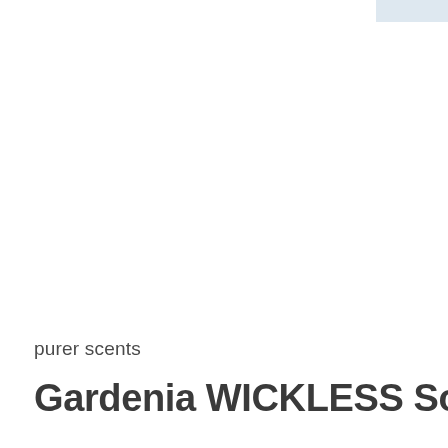[Figure (photo): Small thumbnail image in the top-right corner, light blue/grey colored rectangle representing a product image placeholder]
purer scents
Gardenia WICKLESS Soy